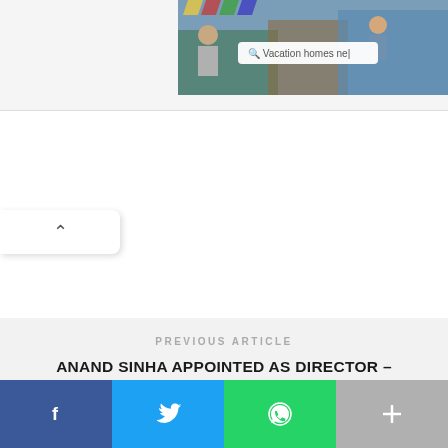[Figure (screenshot): Partial screenshot of a vacation homes advertisement image with a search bar showing 'Vacation homes ne' and people in a workspace setting]
[Figure (other): Collapse/toggle arrow button pointing upward on the left side of the page]
PREVIOUS ARTICLE
ANAND SINHA APPOINTED AS DIRECTOR – PARTNERSHIPS & STRATEGIC INITIATIVES OF FREECHARGE
NEXT ARTICLE
[Figure (infographic): Social share bar with Facebook, Twitter, WhatsApp, and more (+) buttons]